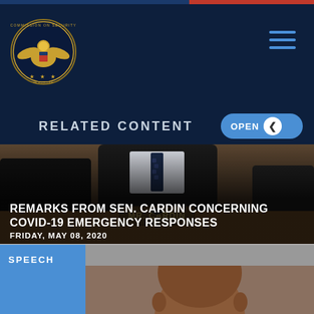[Figure (screenshot): Government website header with CSCE seal logo on dark navy background and hamburger menu icon]
RELATED CONTENT
[Figure (photo): Photo of Senator Cardin at a hearing table with nameplate reading MR. CARDIN, wearing dark suit and tie]
REMARKS FROM SEN. CARDIN CONCERNING COVID-19 EMERGENCY RESPONSES
FRIDAY, MAY 08, 2020
SPEECH
[Figure (photo): Cropped photo showing top of person's head in second card preview]